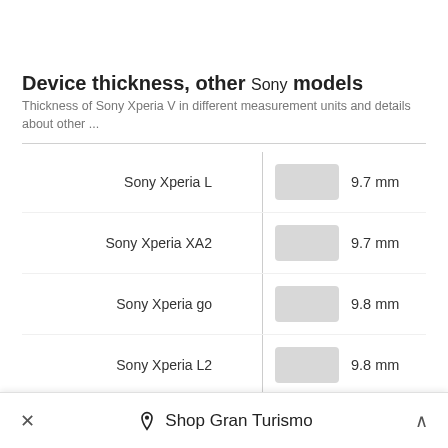Device thickness, other Sony models
Thickness of Sony Xperia V in different measurement units and details about other ...
[Figure (bar-chart): Device thickness, other Sony models]
× Shop Gran Turismo ^